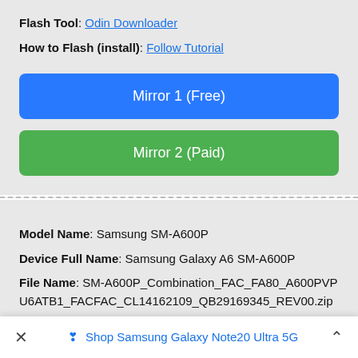Flash Tool: Odin Downloader
How to Flash (install): Follow Tutorial
Mirror 1 (Free)
Mirror 2 (Paid)
Model Name: Samsung SM-A600P
Device Full Name: Samsung Galaxy A6 SM-A600P
File Name: SM-A600P_Combination_FAC_FA80_A600PVPU6ATB1_FACFAC_CL14162109_QB29169345_REV00.zip
Shop Samsung Galaxy Note20 Ultra 5G